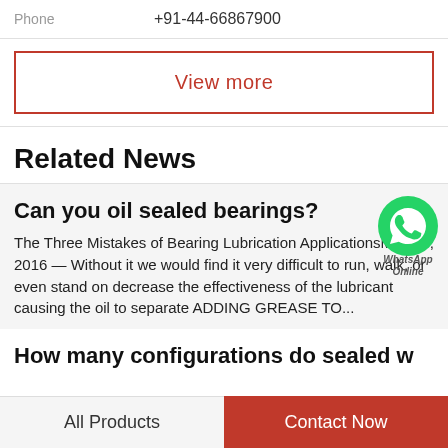Phone  +91-44-66867900
View more
Related News
Can you oil sealed bearings?
The Three Mistakes of Bearing Lubrication ApplicationsMay 19, 2016 — Without it we would find it very difficult to run, walk, or even stand on decrease the effectiveness of the lubricant causing the oil to separate  ADDING GREASE TO...
How many configurations do sealed w
All Products  Contact Now